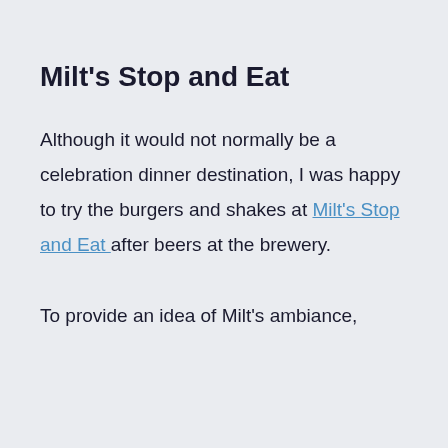Milt's Stop and Eat
Although it would not normally be a celebration dinner destination, I was happy to try the burgers and shakes at Milt's Stop and Eat after beers at the brewery.
To provide an idea of Milt's ambiance,